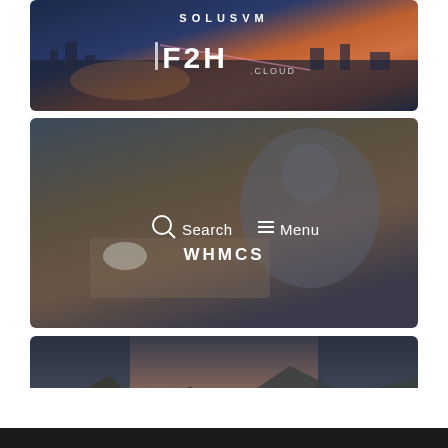[Figure (screenshot): Top banner with city skyline background showing 'SOLUSVM' text and F2H.CLOUD logo]
[Figure (screenshot): Middle banner with blurred business person working on laptop, showing Search and Menu navigation and WHMCS text]
[Figure (screenshot): Lower banner with mountain/fjord landscape background showing 'WINDOWS VPS SERVERS' text]
[Figure (screenshot): Black footer bar at bottom of page]